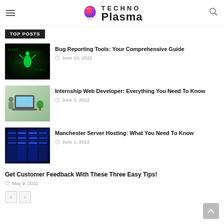TechnoPlasma
TOP POSTS
Bug Reporting Tools: Your Comprehensive Guide
June 14, 2022
[Figure (photo): Green mantis praying insect glowing on dark background]
Internship Web Developer: Everything You Need To Know
June 5, 2022
[Figure (photo): Person typing on laptop with plant in background]
Manchester Server Hosting: What You Need To Know
June 1, 2022
[Figure (photo): Blue lit server room corridor]
Get Customer Feedback With These Three Easy Tips!
May 9, 2022